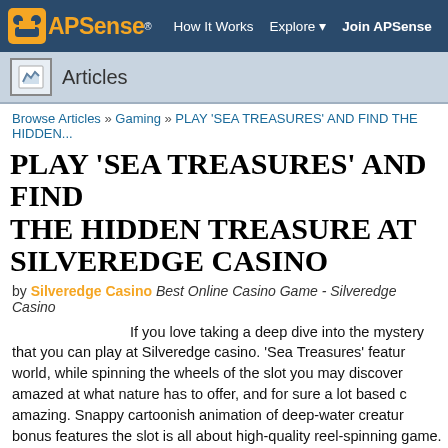APSense® | How It Works | Explore | Join APSense
Articles
Browse Articles » Gaming » PLAY 'SEA TREASURES' AND FIND THE HIDDEN...
PLAY 'SEA TREASURES' AND FIND THE HIDDEN TREASURE AT SILVEREDGE CASINO
by Silveredge Casino Best Online Casino Game - Silveredge Casino
If you love taking a deep dive into the mystery that you can play at Silveredge casino. 'Sea Treasures' feature world, while spinning the wheels of the slot you may discover amazed at what nature has to offer, and for sure a lot based c amazing. Snappy cartoonish animation of deep-water creature bonus features the slot is all about high-quality reel-spinning e game. The energy of the game is of next-level and you may h ambiance.
The Slot's Features
Sea Treasure is a video slot with medium to high volatility and reels in three rows with the pay direction from left to right. You addition, t ypes, multi-lines and free spins. The slot at...